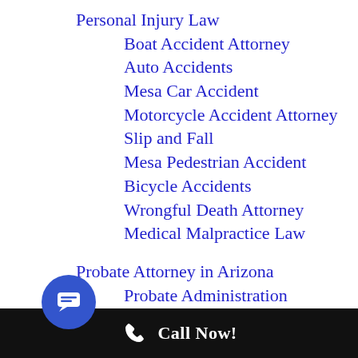Personal Injury Law
Boat Accident Attorney
Auto Accidents
Mesa Car Accident
Motorcycle Accident Attorney
Slip and Fall
Mesa Pedestrian Accident
Bicycle Accidents
Wrongful Death Attorney
Medical Malpractice Law
Probate Attorney in Arizona
Probate Administration
Real Estate Attorney
Uncategorized
Call Now!